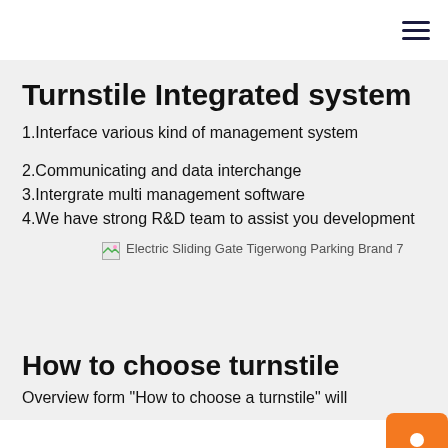Turnstile Integrated system
1.Interface various kind of management system
2.Communicating and data interchange
3.Intergrate multi management software
4.We have strong R&D team to assist you development
[Figure (photo): Electric Sliding Gate Tigerwong Parking Brand 7]
How to choose turnstile
Overview form "How to choose a turnstile" will